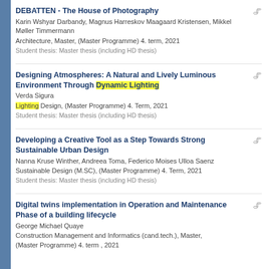DEBATTEN - The House of Photography
Karin Wshyar Darbandy, Magnus Harreskov Maagaard Kristensen, Mikkel Møller Timmermann
Architecture, Master, (Master Programme) 4. term, 2021
Student thesis: Master thesis (including HD thesis)
Designing Atmospheres: A Natural and Lively Luminous Environment Through Dynamic Lighting
Verda Sigura
Lighting Design, (Master Programme) 4. Term, 2021
Student thesis: Master thesis (including HD thesis)
Developing a Creative Tool as a Step Towards Strong Sustainable Urban Design
Nanna Kruse Winther, Andreea Toma, Federico Moises Ulloa Saenz
Sustainable Design (M.SC), (Master Programme) 4. Term, 2021
Student thesis: Master thesis (including HD thesis)
Digital twins implementation in Operation and Maintenance Phase of a building lifecycle
George Michael Quaye
Construction Management and Informatics (cand.tech.), Master, (Master Programme) 4. term , 2021